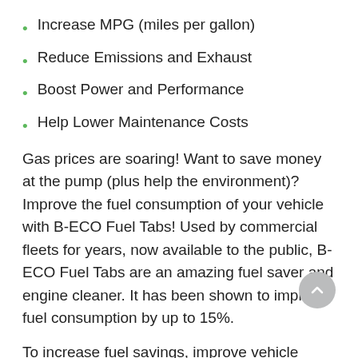Increase MPG (miles per gallon)
Reduce Emissions and Exhaust
Boost Power and Performance
Help Lower Maintenance Costs
Gas prices are soaring! Want to save money at the pump (plus help the environment)? Improve the fuel consumption of your vehicle with B-ECO Fuel Tabs! Used by commercial fleets for years, now available to the public, B-ECO Fuel Tabs are an amazing fuel saver and engine cleaner. It has been shown to improve fuel consumption by up to 15%.
To increase fuel savings, improve vehicle